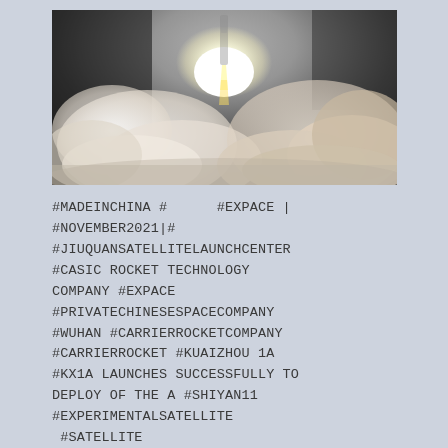[Figure (photo): Rocket launch photo showing a rocket lifting off with bright flames and large plumes of white smoke against a dark sky background.]
#MADEINCHINA #      #EXPACE | #NOVEMBER2021|# #JIUQUANSATELLITELAUNCHCENTER #CASIC ROCKET TECHNOLOGY COMPANY #EXPACE #PRIVATECHINESESPACECOMPANY #WUHAN #CARRIERROCKETCOMPANY #CARRIERROCKET #KUAIZHOU 1A #KX1A LAUNCHES SUCCESSFULLY TO DEPLOY OF THE A #SHIYAN11 #EXPERIMENTALSATELLITE #SATELLITE